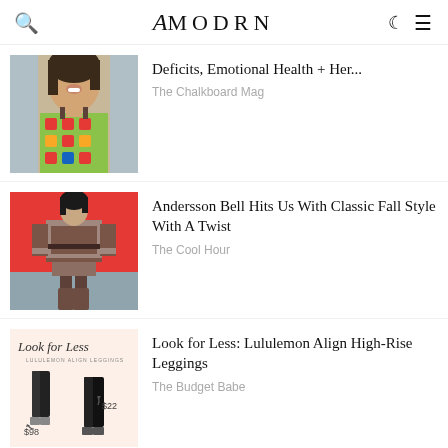amodrn
[Figure (photo): Woman wearing a green and red patterned top, smiling, outdoors]
Deficits, Emotional Health + Her...
The Chalkboard Mag
[Figure (photo): Fashion model on runway wearing brown and tan fur-trimmed jacket with short skirt, red and blue background]
Andersson Bell Hits Us With Classic Fall Style With A Twist
The Cool Hour
[Figure (illustration): Look for Less graphic showing Lululemon Align Leggings comparison: $98 vs $22]
Look for Less: Lululemon Align High-Rise Leggings
The Budget Babe